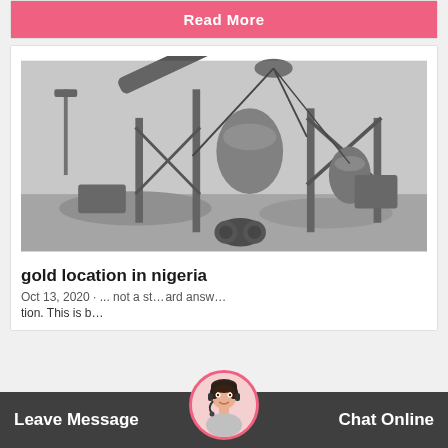Read More
[Figure (photo): Black and white photograph of a large industrial mining/crushing machine with conveyor belts, metal framework, and piles of crushed material on the ground.]
gold location in nigeria
Oct 13, 2020 · ... not a st... ard answ...
tion. This is b...
Leave Message
Chat Online